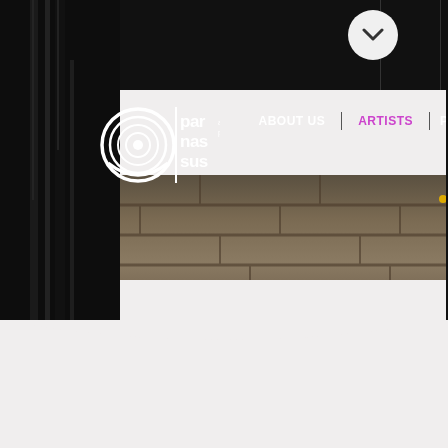[Figure (screenshot): Parnassus Arts Productions website screenshot showing the navigation bar with logo on dark background, 'ABOUT US' and 'ARTISTS' (highlighted in purple) navigation items, a chevron down button, and a background photo showing a stone wall with what appears to be a musical instrument stand on the left side. The bottom portion of the page is a light grey/white background with a curved wave divider.]
ABOUT US
ARTISTS
P
par nas sus arts productions